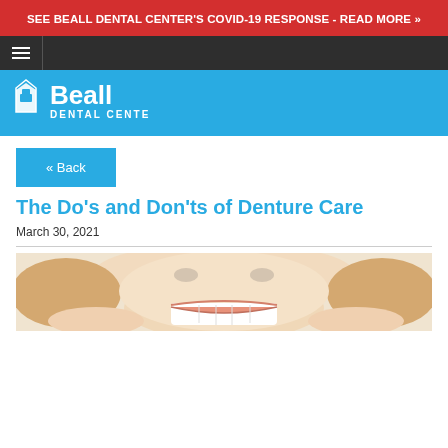SEE BEALL DENTAL CENTER'S COVID-19 RESPONSE - READ MORE »
[Figure (logo): Beall Dental Center logo with tooth icon on blue background]
« Back
The Do's and Don'ts of Denture Care
March 30, 2021
[Figure (photo): Close-up photo of an elderly woman smiling and showing her dentures, hands on cheeks]